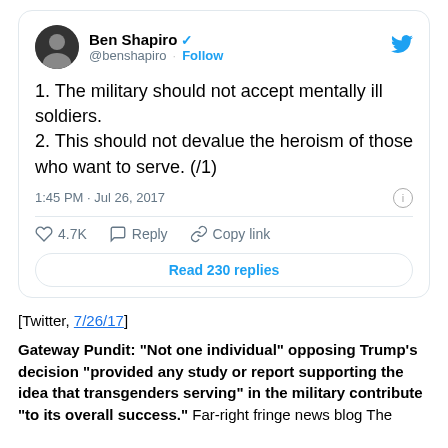[Figure (screenshot): Screenshot of a tweet by Ben Shapiro (@benshapiro) dated 1:45 PM · Jul 26, 2017, with 4.7K likes and 230 replies. Tweet text: '1. The military should not accept mentally ill soldiers. 2. This should not devalue the heroism of those who want to serve. (/1)']
[Twitter, 7/26/17]
Gateway Pundit: "Not one individual" opposing Trump's decision "provided any study or report supporting the idea that transgenders serving" in the military contribute "to its overall success." Far-right fringe news blog The